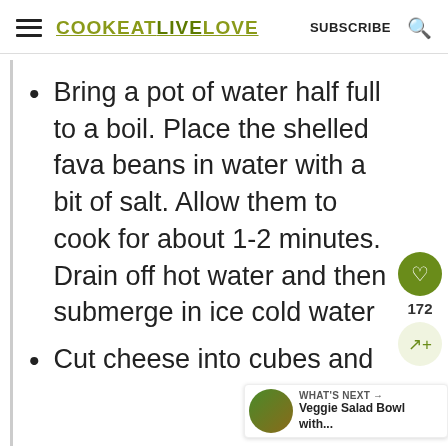COOK EAT LIVE LOVE | SUBSCRIBE
Bring a pot of water half full to a boil. Place the shelled fava beans in water with a bit of salt. Allow them to cook for about 1-2 minutes. Drain off hot water and then submerge in ice cold water
Cut cheese into cubes and